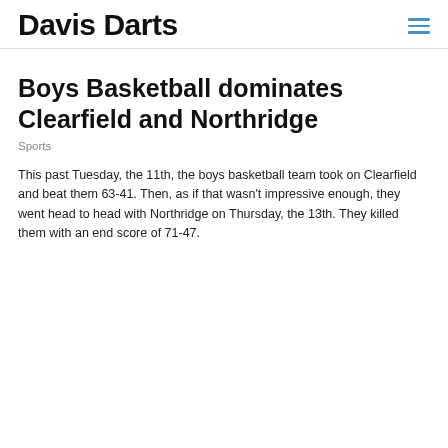Davis Darts
Boys Basketball dominates Clearfield and Northridge
Sports
This past Tuesday, the 11th, the boys basketball team took on Clearfield and beat them 63-41. Then, as if that wasn't impressive enough, they went head to head with Northridge on Thursday, the 13th. They killed them with an end score of 71-47.